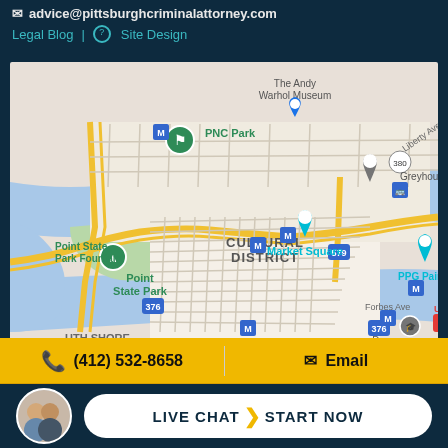advice@pittsburghcriminalattorney.com
Legal Blog  |  Site Design
[Figure (map): Google Maps view of downtown Pittsburgh showing landmarks including PNC Park, The Andy Warhol Museum, Point State Park, Point State Park Fountain, Cultural District, Market Square, Greyhound Bus Station, PPG Paints, Duquesne University, Forbes Ave, Liberty Ave, routes 376 and 579 and 380.]
(412) 532-8658
Email
LIVE CHAT  START NOW